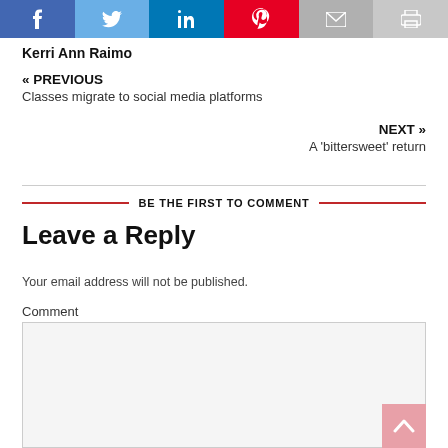[Figure (other): Social media sharing bar with icons for Facebook, Twitter, LinkedIn, Pinterest, Email, and Print]
Kerri Ann Raimo
« PREVIOUS
Classes migrate to social media platforms
NEXT »
A 'bittersweet' return
BE THE FIRST TO COMMENT
Leave a Reply
Your email address will not be published.
Comment